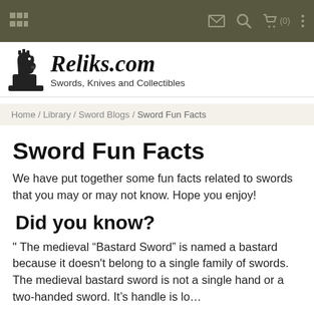Navigation bar with menu, mail, search, cart (0), and more options icons
[Figure (logo): Reliks.com logo with chess knight piece and text 'Reliks.com Swords, Knives and Collectibles']
Home / Library / Sword Blogs / Sword Fun Facts
Sword Fun Facts
We have put together some fun facts related to swords that you may or may not know. Hope you enjoy!
Did you know?
" The medieval “Bastard Sword” is named a bastard because it doesn't belong to a single family of swords. The medieval bastard sword is not a single hand or a two-handed sword. It’s handle is lo…